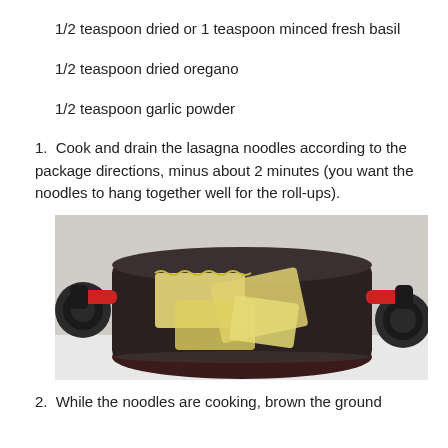1/2 teaspoon dried or 1 teaspoon minced fresh basil
1/2 teaspoon dried oregano
1/2 teaspoon garlic powder
1. Cook and drain the lasagna noodles according to the package directions, minus about 2 minutes (you want the noodles to hang together well for the roll-ups).
[Figure (photo): A dark non-stick pot with red handles sitting on a stovetop, containing cooked lasagna noodles folded and layered inside.]
2. While the noodles are cooking, brown the ground